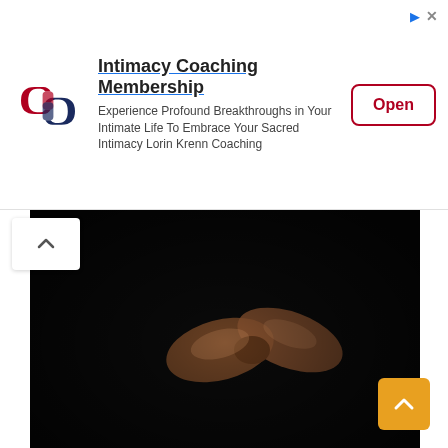[Figure (infographic): Advertisement banner for Intimacy Coaching Membership by Lorin Krenn Coaching. Contains a logo with interlocking chain links in red and dark blue, bold title 'Intimacy Coaching Membership', body text 'Experience Profound Breakthroughs in Your Intimate Life To Embrace Your Sacred Intimacy Lorin Krenn Coaching', and an 'Open' button with red border. Top-right has a blue arrow icon and grey X icon.]
[Figure (photo): Dark photograph showing a gift bow or ribbon on a dark background, likely clothing or fabric.]
Girl Profile Picture Images
[Figure (photo): Photo of a girl with long red/auburn hair wearing a black leather jacket, standing with her back to the camera facing a brick wall. Warm orange tones.]